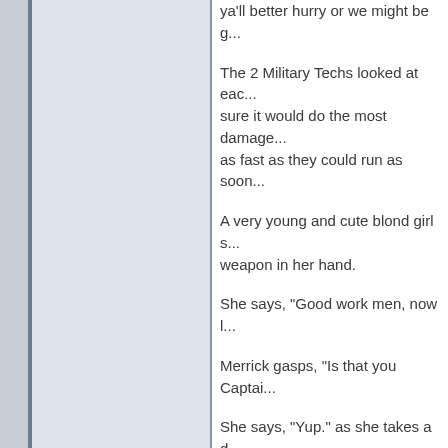ya'll better hurry or we might be g...
The 2 Military Techs looked at eac... sure it would do the most damage... as fast as they could run as soon...
A very young and cute blond girl s... weapon in her hand.
She says, "Good work men, now l...
Merrick gasps, "Is that you Captai...
She says, "Yup." as she takes a d... the throws the revealed switch.
The ship began to rise, eerily silen... ground. When it was only about 2... spacecraft as the explosive detona... dropped to the ground again with...
Shortly after that, Tom laughed. "C...
The ship continued rising, no long... obviously having trouble stabilizing...